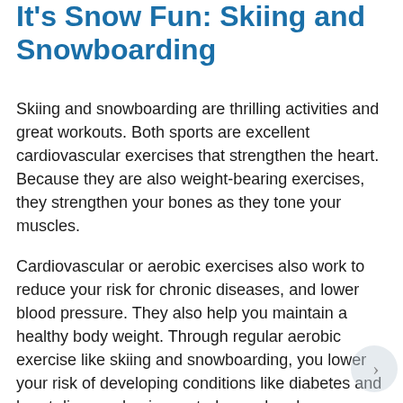It's Snow Fun: Skiing and Snowboarding
Skiing and snowboarding are thrilling activities and great workouts. Both sports are excellent cardiovascular exercises that strengthen the heart. Because they are also weight-bearing exercises, they strengthen your bones as they tone your muscles.
Cardiovascular or aerobic exercises also work to reduce your risk for chronic diseases, and lower blood pressure. They also help you maintain a healthy body weight. Through regular aerobic exercise like skiing and snowboarding, you lower your risk of developing conditions like diabetes and heart disease, having a stroke, and perhaps even getting cancer.
It's important to prepare your body for the challenges of these demanding winter sports with some pre-skiing and pre-snowboarding exercises. These exercises will